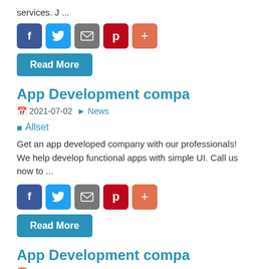services. J ...
[Figure (infographic): Row of social share buttons: Facebook (blue), Twitter (light blue), Email (gray), Pinterest (dark red), Plus (orange-red)]
Read More
App Development compa
2021-07-02  News
Allset
Get an app developed company with our professionals! We help develop functional apps with simple UI. Call us now to ...
[Figure (infographic): Row of social share buttons: Facebook (blue), Twitter (light blue), Email (gray), Pinterest (dark red), Plus (orange-red)]
Read More
App Development compa
2021-07-02  News